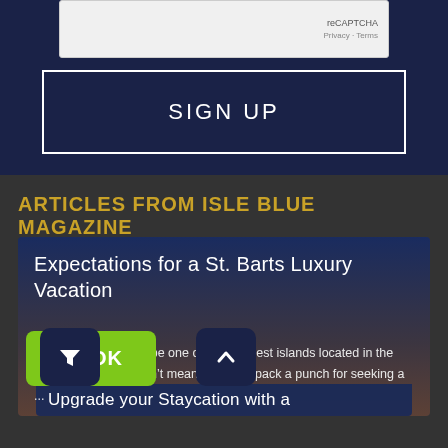[Figure (screenshot): reCAPTCHA widget box with 'reCAPTCHA Privacy - Terms' text on right side]
[Figure (screenshot): SIGN UP button with white border on dark navy background]
ARTICLES FROM ISLE BLUE MAGAZINE
Expectations for a St. Barts Luxury Vacation
While St Barts might be one of the smallest islands located in the Caribbean, that doesn't mean it doesn't pack a punch for seeking a ...
[Figure (screenshot): BOOK button in green, filter icon button in navy, and up-arrow button in navy]
Upgrade your Staycation with a